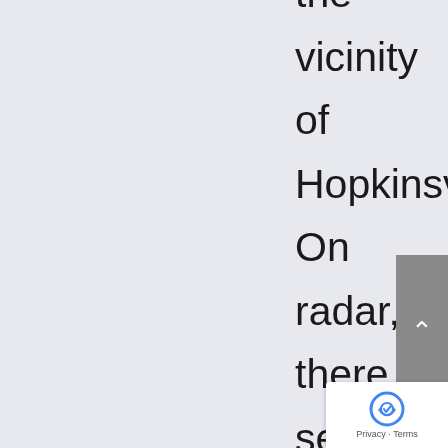the vicinity of Hopkinsville. On radar, there seemed to be no way that the intense squall line with imbedded torrential rain would miss us, but that's exactly what it did, seemingly evaporating as it neared Auburn. While Western Kentucky received 0.75 to 1.75 PWS of rain, my weather station showed that we picked up a